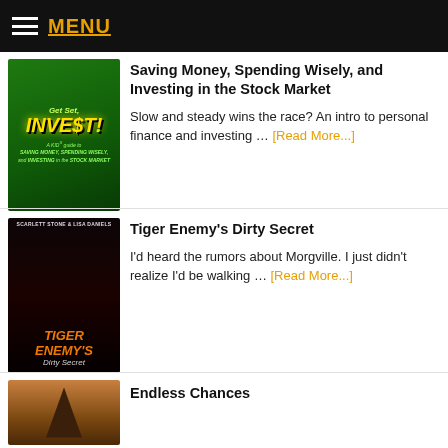MENU
[Figure (illustration): Book cover: Get Set, INVEST! A Kids Guide to Saving Money, Spending Wisely, and Investing in the Stock Market. Green background with cartoon characters.]
Saving Money, Spending Wisely, and Investing in the Stock Market
Slow and steady wins the race? An intro to personal finance and investing … [Read More...]
[Figure (illustration): Book cover: Tiger Enemy's Dirty Secret by Scarlett Stone & Lisa Daniels. Dark cover with romantic figures and tiger.]
Tiger Enemy's Dirty Secret
I'd heard the rumors about Morgville. I just didn't realize I'd be walking … [Read More...]
[Figure (illustration): Book cover: Endless Chances. Brown/sepia toned cover with architectural element.]
Endless Chances